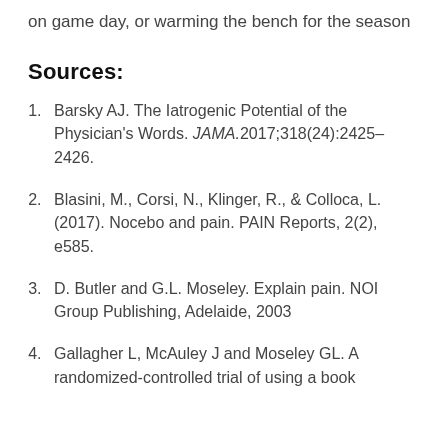on game day, or warming the bench for the season
Sources:
Barsky AJ. The Iatrogenic Potential of the Physician's Words. JAMA. 2017;318(24):2425–2426.
Blasini, M., Corsi, N., Klinger, R., & Colloca, L. (2017). Nocebo and pain. PAIN Reports, 2(2), e585.
D. Butler and G.L. Moseley. Explain pain. NOI Group Publishing, Adelaide, 2003
Gallagher L, McAuley J and Moseley GL. A randomized-controlled trial of using a book